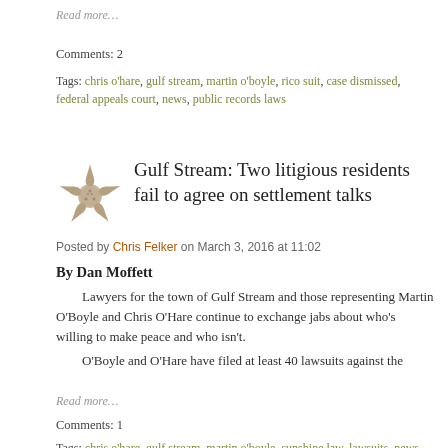Read more…
Comments: 2
Tags: chris o'hare, gulf stream, martin o'boyle, rico suit, case dismissed, federal appeals court, news, public records laws
Gulf Stream: Two litigious residents fail to agree on settlement talks
Posted by Chris Felker on March 3, 2016 at 11:02
By Dan Moffett
Lawyers for the town of Gulf Stream and those representing Martin O'Boyle and Chris O'Hare continue to exchange jabs about who's willing to make peace and who isn't.
    O'Boyle and O'Hare have filed at least 40 lawsuits against the
Read more…
Comments: 1
Tags: chris o'hare, gulf stream, martin o'boyle, sunshine law, lawsuits, news, public records requests